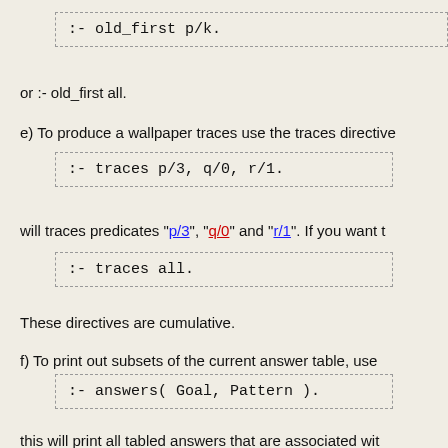:- old_first p/k.
or :- old_first all.
e) To produce a wallpaper traces use the traces directive
:- traces p/3, q/0, r/1.
will traces predicates "p/3", "q/0" and "r/1". If you want t
:- traces all.
These directives are cumulative.
f) To print out subsets of the current answer table, use
:- answers( Goal, Pattern ).
this will print all tabled answers that are associated wit entire table, use just